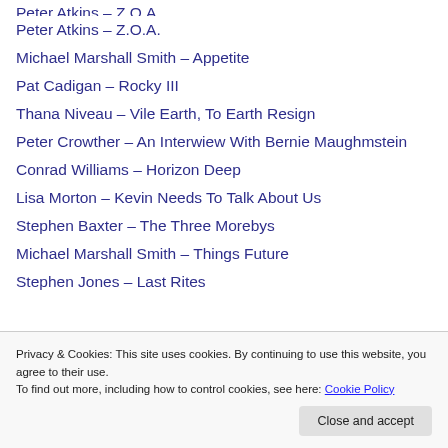Peter Atkins – Z.O.A.
Michael Marshall Smith – Appetite
Pat Cadigan – Rocky III
Thana Niveau – Vile Earth, To Earth Resign
Peter Crowther – An Interwiew With Bernie Maughmstein
Conrad Williams – Horizon Deep
Lisa Morton – Kevin Needs To Talk About Us
Stephen Baxter – The Three Morebys
Michael Marshall Smith – Things Future
Stephen Jones – Last Rites
Privacy & Cookies: This site uses cookies. By continuing to use this website, you agree to their use. To find out more, including how to control cookies, see here: Cookie Policy
Blurb: